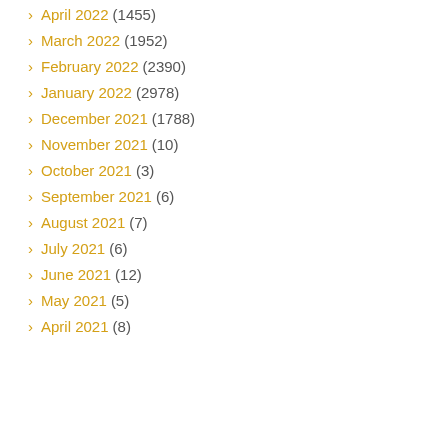April 2022 (1455)
March 2022 (1952)
February 2022 (2390)
January 2022 (2978)
December 2021 (1788)
November 2021 (10)
October 2021 (3)
September 2021 (6)
August 2021 (7)
July 2021 (6)
June 2021 (12)
May 2021 (5)
April 2021 (8)